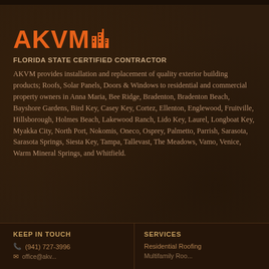[Figure (logo): AKVM logo in orange with stylized building/factory icon]
FLORIDA STATE CERTIFIED CONTRACTOR
AKVM provides installation and replacement of quality exterior building products; Roofs, Solar Panels, Doors & Windows to residential and commercial property owners in Anna Maria, Bee Ridge, Bradenton, Bradenton Beach, Bayshore Gardens, Bird Key, Casey Key, Cortez, Ellenton, Englewood, Fruitville, Hillsborough, Holmes Beach, Lakewood Ranch, Lido Key, Laurel, Longboat Key, Myakka City, North Port, Nokomis, Oneco, Osprey, Palmetto, Parrish, Sarasota, Sarasota Springs, Siesta Key, Tampa, Tallevast, The Meadows, Vamo, Venice, Warm Mineral Springs, and Whitfield.
KEEP IN TOUCH
SERVICES
(941) 727-3996
Residential Roofing
Multifamily Roofing